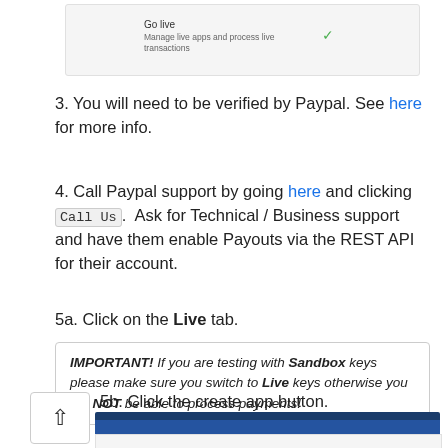[Figure (screenshot): Screenshot showing 'Go live' section with text 'Manage live apps and process live transactions' and a green checkmark on the right]
3. You will need to be verified by Paypal. See here for more info.
4. Call Paypal support by going here and clicking Call Us. Ask for Technical / Business support and have them enable Payouts via the REST API for their account.
5a. Click on the Live tab.
IMPORTANT! If you are testing with Sandbox keys please make sure you switch to Live keys otherwise you will NOT be able to process payments!
5b. Click the create app button.
[Figure (screenshot): Screenshot of PayPal developer interface showing navigation and PayPal logo]